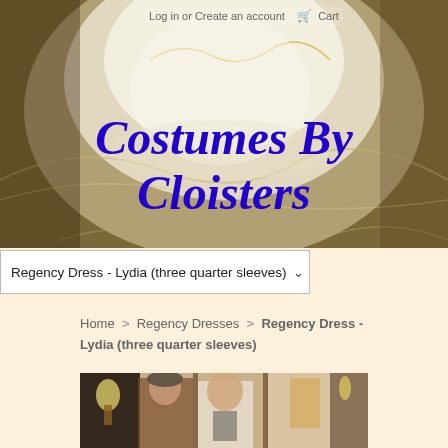[Figure (photo): Website banner with ivory/gold fabric background for Costumes By Cloisters online shop]
Log in or Create an account  🛒 Cart
Costumes By Cloisters
Regency Dress - Lydia (three quarter sleeves)  ▾
Home > Regency Dresses > Regency Dress - Lydia (three quarter sleeves)
[Figure (photo): Product photo showing two people in Regency period costume inside a period-styled room]